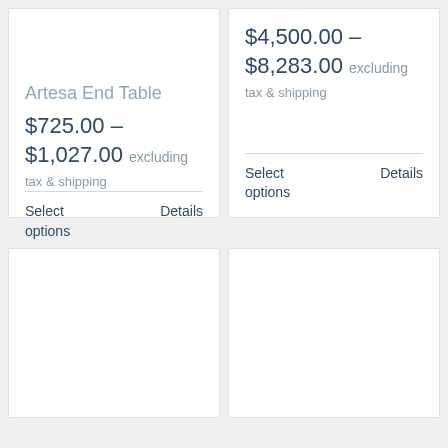Artesa End Table
$725.00 – $1,027.00 excluding tax & shipping
Select options
Details
$4,500.00 – $8,283.00 excluding tax & shipping
Select options
Details